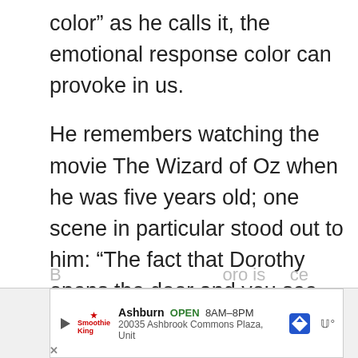color” as he calls it, the emotional response color can provoke in us.
He remembers watching the movie The Wizard of Oz when he was five years old; one scene in particular stood out to him: “The fact that Dorothy opens the door and you see this almost monochromatic landscape and then you see her in her red dress and she pops like a flame of fire on the screen made me realize that color has these powers.”
[Figure (other): Advertisement banner for Smoothie King in Ashburn, showing OPEN 8AM-8PM and address 20035 Ashbrook Commons Plaza, Unit, with a navigation/map icon and weather icon]